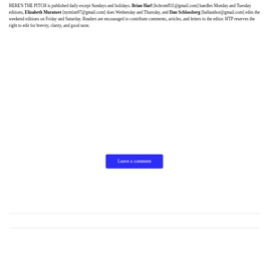HERE'S THE PITCH is published daily except Sundays and holidays. Brian Harl [bchrom831@gmail.com] handles Monday and Tuesday editions, Elizabeth Muratore [nymfan97@gmail.com] does Wednesday and Thursday, and Dan Schlossberg [ballauthor@gmail.com] edits the weekend editions on Friday and Saturday. Readers are encouraged to contribute comments, articles, and letters to the editor. HTP reserves the right to edit for brevity, clarity, and good taste.